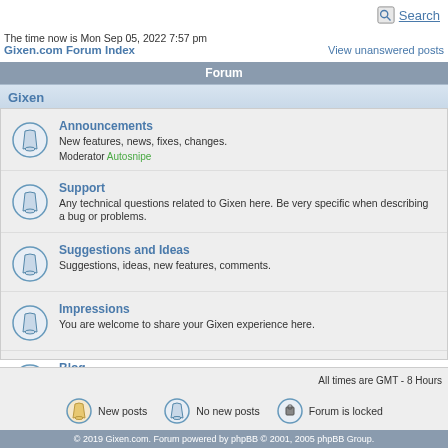Search
The time now is Mon Sep 05, 2022 7:57 pm
Gixen.com Forum Index
View unanswered posts
Forum
Gixen
Announcements
New features, news, fixes, changes.
Moderator Autosnipe
Support
Any technical questions related to Gixen here. Be very specific when describing a bug or problems.
Suggestions and Ideas
Suggestions, ideas, new features, comments.
Impressions
You are welcome to share your Gixen experience here.
Blog
Mario's Gixen Blog for Gixen enthusiasts. Read & post your comments.
All times are GMT - 8 Hours
New posts   No new posts   Forum is locked
© 2019 Gixen.com. Forum powered by phpBB © 2001, 2005 phpBB Group.